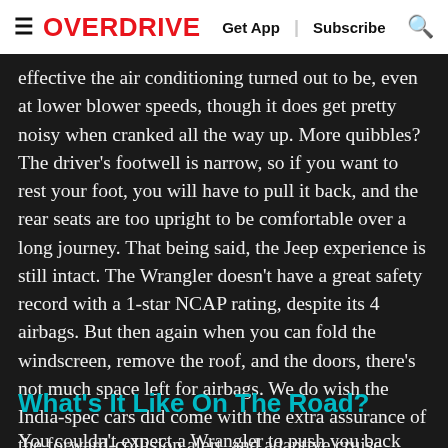≡ OVERDRIVE   Get App | Subscribe 🔍
effective the air conditioning turned out to be, even at lower blower speeds, though it does get pretty noisy when cranked all the way up. More quibbles? The driver's footwell is narrow, so if you want to rest your foot, you will have to pull it back, and the rear seats are too upright to be comfortable over a long journey. That being said, the Jeep experience is still intact. The Wrangler doesn't have a great safety record with a 1-star NCAP rating, despite its 4 airbags. But then again when you can fold the windscreen, remove the roof, and the doors, there's not much space left for airbags. We do wish the India-spec cars did come with the extra assurance of the forward-collision alert, and adaptive cruise control available in some markets.
What's It Like On The Road?
You couldn't expect a Wrangler to push you back into...